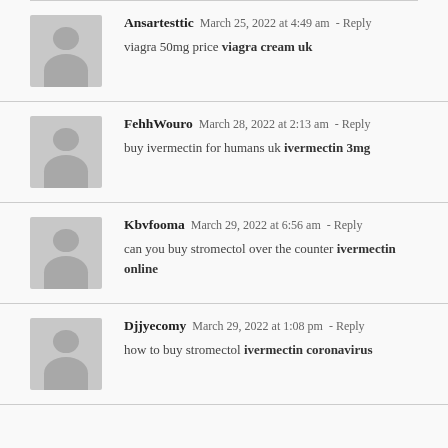Ansartesttic   March 25, 2022 at 4:49 am - Reply
viagra 50mg price viagra cream uk
FehhWouro   March 28, 2022 at 2:13 am - Reply
buy ivermectin for humans uk ivermectin 3mg
Kbvfooma   March 29, 2022 at 6:56 am - Reply
can you buy stromectol over the counter ivermectin online
Djjyecomy   March 29, 2022 at 1:08 pm - Reply
how to buy stromectol ivermectin coronavirus